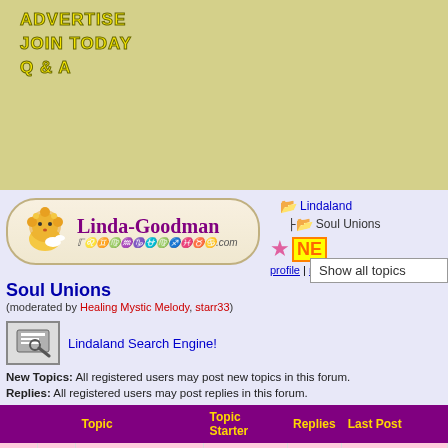ADVERTISE
JOIN TODAY
Q & A
[Figure (logo): Linda-Goodman.com logo with lion illustration and astrological symbols]
Lindaland | Soul Unions breadcrumb navigation
Soul Unions
(moderated by Healing Mystic Melody, starr33)
Show all topics
Lindaland Search Engine!
New Topics: All registered users may post new topics in this forum.
Replies: All registered users may post replies in this forum.
|  |  | Topic | Topic Starter | Replies | Last Post |
| --- | --- | --- | --- | --- | --- |
| 📁 | 🟢 | Star Wars Episode IX spolier | Mkya00 | 55 | June 29, 2021 07... |
| 📁 | ⭐ | What if ~ 11 Twins .. Flames | MoonMystic | 28 | June 18, 2021 06... |
| 📁 |  | Twin Souls... |  |  |  |